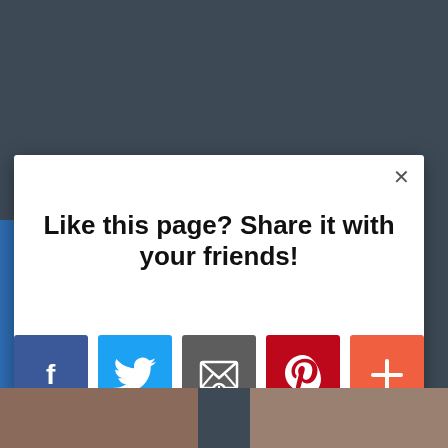[Figure (screenshot): Social sharing modal popup with 'Like this page? Share it with your friends!' heading and social media icon buttons for Facebook, Twitter, Email, Pinterest, and a plus button, with AddThis branding in the bottom right corner. Background is dark blue-grey.]
Like this page? Share it with your friends!